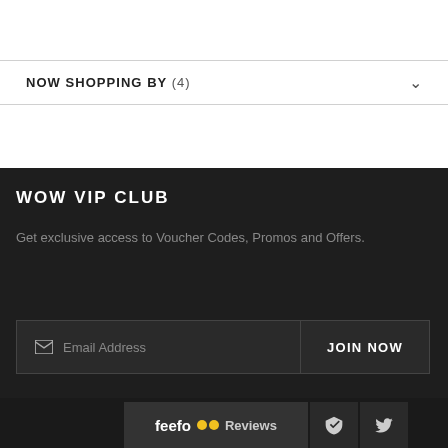NOW SHOPPING BY (4)
WOW VIP CLUB
Get exclusive access to Voucher Codes, Promos and Offers.
Email Address  JOIN NOW
[Figure (logo): Feefo Reviews logo with two yellow eye circles, followed by a Houzz icon and a Twitter bird icon]